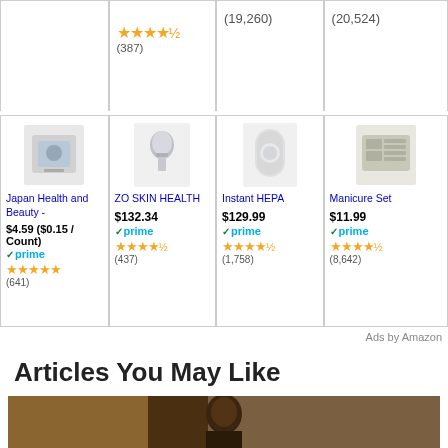[Figure (screenshot): Top row of Amazon product cards (partial, cropped) showing review counts (19,260) and (20,524) with partial star ratings]
[Figure (screenshot): Bottom row of Amazon product ad cards: Japan Health and Beauty ($4.59, $0.15/Count, Prime, 4 stars, 641 reviews), ZO SKIN HEALTH ($132.34, Prime, 4.5 stars, 437 reviews), Instant HEPA ($129.99, Prime, 4.5 stars, 1,758 reviews), Manicure Set ($11.99, Prime, 4.5 stars, 8,642 reviews)]
Ads by Amazon
Articles You May Like
[Figure (photo): Partial photo of a person, appears to be an article thumbnail image]